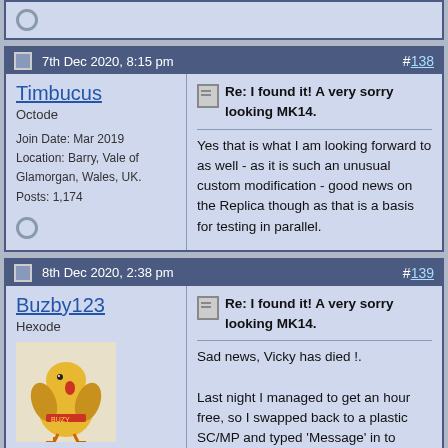(partial post top - offline icon)
7th Dec 2020, 8:15 pm  #138
Timbucus
Octode
Join Date: Mar 2019
Location: Barry, Vale of Glamorgan, Wales, UK.
Posts: 1,174
Re: I found it! A very sorry looking MK14.

Yes that is what I am looking forward to as well - as it is such an unusual custom modification - good news on the Replica though as that is a basis for testing in parallel.
8th Dec 2020, 2:38 pm  #139
Buzby123
Hexode
Join Date: Oct 2011
Location: Culcheth, Cheshire, UK.
Posts: 412
[Figure (illustration): Avatar image of a cartoon turkey/chicken character with yellow body and red accents]
Re: I found it! A very sorry looking MK14.

Sad news, Vicky has died !.

Last night I managed to get an hour free, so I swapped back to a plastic SC/MP and typed 'Message' in to Vicky. It worked Jolly Fine.

This morning, powered up